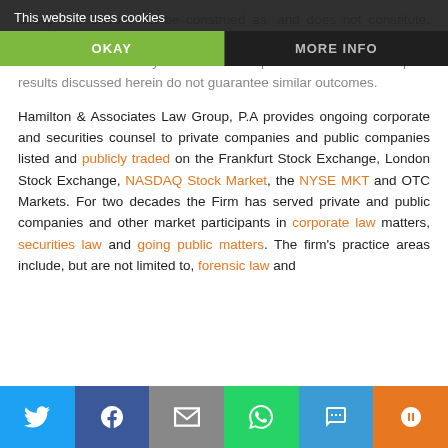Group and should not be construed as, and does not constitute, legal and compliance advice on any specific passage creates attorney-client relationship. Please note that the prior results discussed herein do not guarantee similar outcomes.
Hamilton & Associates Law Group, P.A provides ongoing corporate and securities counsel to private companies and public companies listed and publicly traded on the Frankfurt Stock Exchange, London Stock Exchange, NASDAQ Stock Market, the NYSE MKT and OTC Markets. For two decades the Firm has served private and public companies and other market participants in corporate law matters, securities law and going public matters. The firm's practice areas include, but are not limited to, forensic law and...